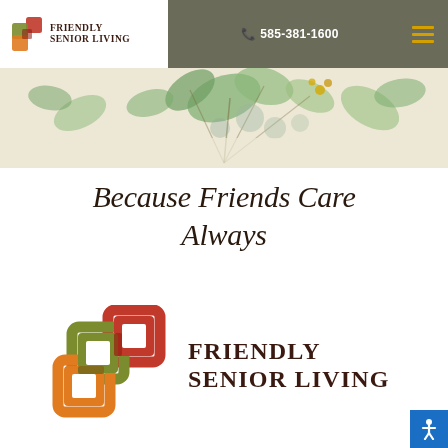FRIENDLY SENIOR LIVING | 585-381-1600
[Figure (illustration): Botanical banner with eucalyptus leaves and green/yellow foliage on a cream background]
Because Friends Care Always
[Figure (logo): Friendly Senior Living logo — interlocking squares in red, orange, green, and olive colors, with text FRIENDLY SENIOR LIVING in dark brown serif font]